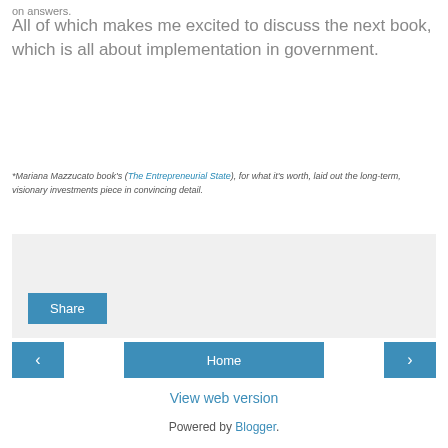on answers.
All of which makes me excited to discuss the next book, which is all about implementation in government.
*Mariana Mazzucato book's (The Entrepreneurial State), for what it's worth, laid out the long-term, visionary investments piece in convincing detail.
Share
< Home >
View web version
Powered by Blogger.